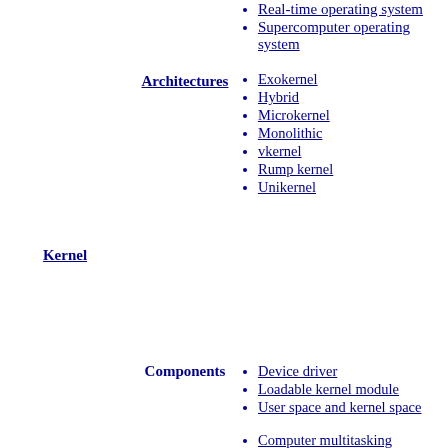Real-time operating system
Supercomputer operating system
Exokernel
Hybrid
Microkernel
Monolithic
vkernel
Rump kernel
Unikernel
Device driver
Loadable kernel module
User space and kernel space
Computer multitasking (Cooperative, Preemptive)
Context switch
Interrupt
IPC
Process
Process control block
Real-time
Thread
Time-sharing